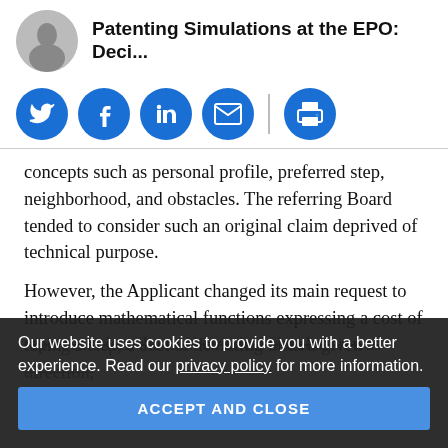Patenting Simulations at the EPO: Deci...
[Figure (infographic): Social sharing icons: Twitter, Facebook, LinkedIn, Email, Print]
concepts such as personal profile, preferred step, neighborhood, and obstacles. The referring Board tended to consider such an original claim deprived of technical purpose.
However, the Applicant changed its main request to introduce mathematical functions expressing a cost of taking a step, a cost of deviating from a given direction, [partially obscured]. In this representation, the mathematical simulation was [partially obscured]ation [partially obscured]. an electron could be considered: a moving entity
Our website uses cookies to provide you with a better experience. Read our privacy policy for more information.
ACCEPT AND CLOSE